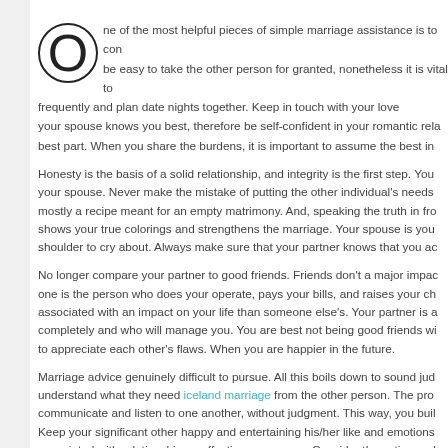One of the most helpful pieces of simple marriage assistance is to con... be easy to take the other person for granted, nonetheless it is vital to... frequently and plan date nights together. Keep in touch with your love... your spouse knows you best, therefore be self-confident in your romantic rela... best part. When you share the burdens, it is important to assume the best in...
Honesty is the basis of a solid relationship, and integrity is the first step. You... your spouse. Never make the mistake of putting the other individual's needs... mostly a recipe meant for an empty matrimony. And, speaking the truth in fro... shows your true colorings and strengthens the marriage. Your spouse is you... shoulder to cry about. Always make sure that your partner knows that you ac...
No longer compare your partner to good friends. Friends don't a major impac... one is the person who does your operate, pays your bills, and raises your ch... associated with an impact on your life than someone else's. Your partner is a... completely and who will manage you. You are best not being good friends wi... to appreciate each other's flaws. When you are happier in the future.
Marriage advice genuinely difficult to pursue. All this boils down to sound jud... understand what they need iceland marriage from the other person. The pro... communicate and listen to one another, without judgment. This way, you buil... Keep your significant other happy and entertaining his/her like and emotions... associated with relationship as effective as you can. Consider these tips and... success.